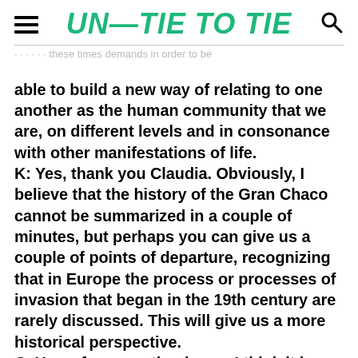UN—TIE TO TIE
...these times demands in order to be able to build a new way of relating to one another as the human community that we are, on different levels and in consonance with other manifestations of life.
K: Yes, thank you Claudia. Obviously, I believe that the history of the Gran Chaco cannot be summarized in a couple of minutes, but perhaps you can give us a couple of points of departure, recognizing that in Europe the process or processes of invasion that began in the 19th century are rarely discussed. This will give us a more historical perspective.
C: Yes, of course, thank you, I think it is a necessary clarification or necessary...